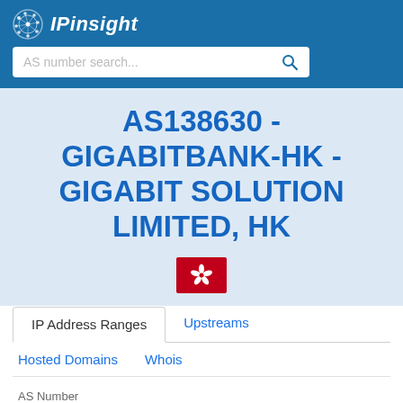IPinsight
AS138630 - GIGABITBANK-HK - GIGABIT SOLUTION LIMITED, HK
[Figure (illustration): Hong Kong flag icon - red background with white bauhinia flower]
IP Address Ranges | Upstreams | Hosted Domains | Whois
AS Number
AS138630
AS Name